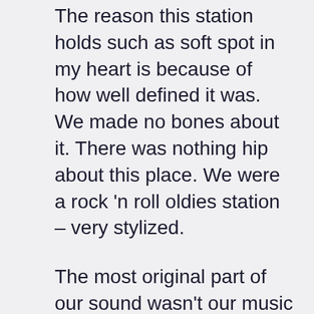The reason this station holds such as soft spot in my heart is because of how well defined it was. We made no bones about it. There was nothing hip about this place. We were a rock ‘n roll oldies station – very stylized.
The most original part of our sound wasn’t our music or jocks, but our news department. Yes, we presented the news, but with verve!
Each newsman had three names on-the-air – whether they did in real life or not.